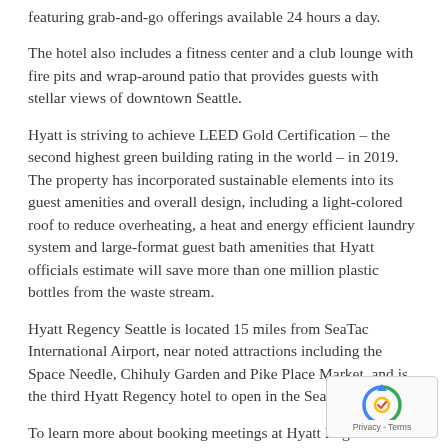featuring grab-and-go offerings available 24 hours a day.
The hotel also includes a fitness center and a club lounge with fire pits and wrap-around patio that provides guests with stellar views of downtown Seattle.
Hyatt is striving to achieve LEED Gold Certification – the second highest green building rating in the world – in 2019. The property has incorporated sustainable elements into its guest amenities and overall design, including a light-colored roof to reduce overheating, a heat and energy efficient laundry system and large-format guest bath amenities that Hyatt officials estimate will save more than one million plastic bottles from the waste stream.
Hyatt Regency Seattle is located 15 miles from SeaTac International Airport, near noted attractions including the Space Needle, Chihuly Garden and Pike Place Market, and is the third Hyatt Regency hotel to open in the Seattle area.
To learn more about booking meetings at Hyatt Regency Seattle, go HERE.